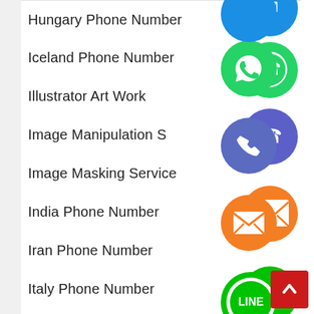Hungary Phone Number
Iceland Phone Number
Illustrator Art Work
Image Manipulation S…
Image Masking Service
India Phone Number
Iran Phone Number
Italy Phone Number
[Figure (screenshot): Floating social media/messaging app icons (WhatsApp green, Viber/phone blue, email orange, LINE green, Viber purple, close green) overlaid on a list of menu items. A red back-to-top button is in the bottom right.]